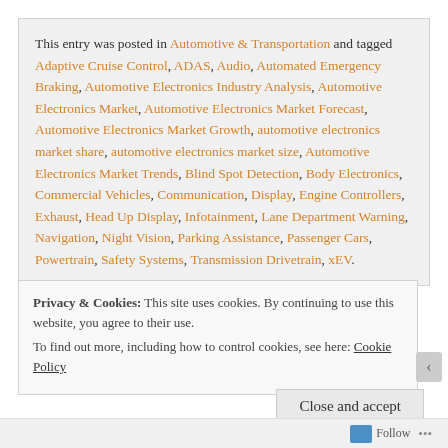This entry was posted in Automotive & Transportation and tagged Adaptive Cruise Control, ADAS, Audio, Automated Emergency Braking, Automotive Electronics Industry Analysis, Automotive Electronics Market, Automotive Electronics Market Forecast, Automotive Electronics Market Growth, automotive electronics market share, automotive electronics market size, Automotive Electronics Market Trends, Blind Spot Detection, Body Electronics, Commercial Vehicles, Communication, Display, Engine Controllers, Exhaust, Head Up Display, Infotainment, Lane Department Warning, Navigation, Night Vision, Parking Assistance, Passenger Cars, Powertrain, Safety Systems, Transmission Drivetrain, xEV.
Privacy & Cookies: This site uses cookies. By continuing to use this website, you agree to their use. To find out more, including how to control cookies, see here: Cookie Policy